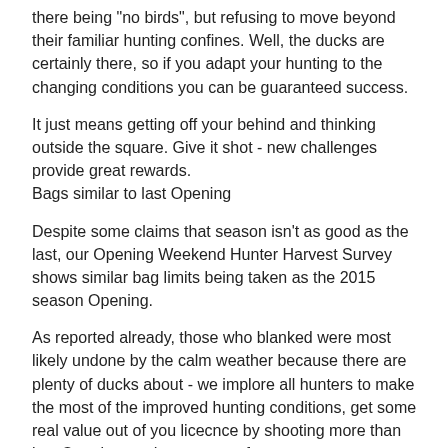there being "no birds", but refusing to move beyond their familiar hunting confines. Well, the ducks are certainly there, so if you adapt your hunting to the changing conditions you can be guaranteed success.
It just means getting off your behind and thinking outside the square. Give it shot - new challenges provide great rewards.
Bags similar to last Opening
Despite some claims that season isn't as good as the last, our Opening Weekend Hunter Harvest Survey shows similar bag limits being taken as the 2015 season Opening.
As reported already, those who blanked were most likely undone by the calm weather because there are plenty of ducks about - we implore all hunters to make the most of the improved hunting conditions, get some real value out of you licecnce by shooting more than just Opening, and get out as oftenas you can.
Thanks to all those hunters who took part in the survey. It